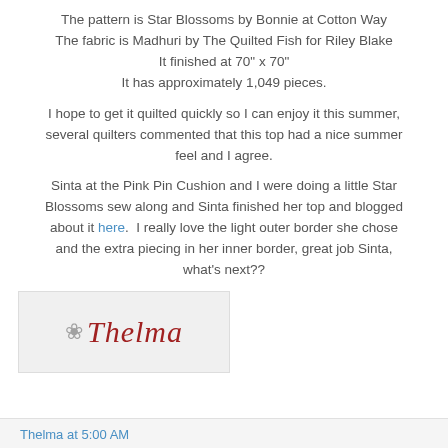The pattern is Star Blossoms by Bonnie at Cotton Way
The fabric is Madhuri by The Quilted Fish for Riley Blake
It finished at 70" x 70"
It has approximately 1,049 pieces.
I hope to get it quilted quickly so I can enjoy it this summer, several quilters commented that this top had a nice summer feel and I agree.
Sinta at the Pink Pin Cushion and I were doing a little Star Blossoms sew along and Sinta finished her top and blogged about it here.  I really love the light outer border she chose and the extra piecing in her inner border, great job Sinta, what's next??
[Figure (illustration): Signature graphic showing a daisy flower icon and cursive script name 'Thelma' in dark red on a light grey background]
Thelma at 5:00 AM